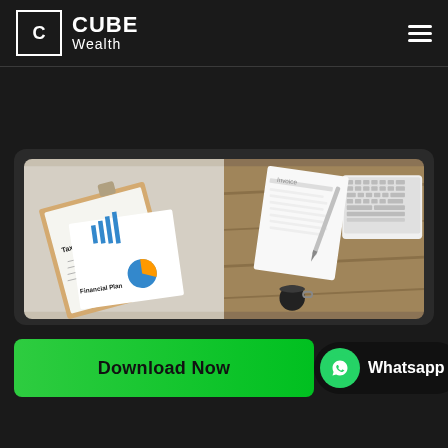[Figure (logo): Cube Wealth logo: white square with letter C, followed by CUBE in bold and Wealth in regular weight]
[Figure (photo): Composite hero image showing financial documents: left side has tax return form and financial plan on clipboard with charts; right side has invoice/receipt, pen, and laptop keyboard on wooden desk]
Download Now
Whatsapp